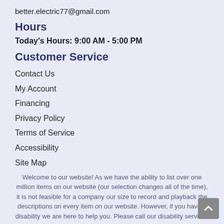better.electric77@gmail.com
Hours
Today's Hours: 9:00 AM - 5:00 PM
Customer Service
Contact Us
My Account
Financing
Privacy Policy
Terms of Service
Accessibility
Site Map
[Figure (logo): Facebook circular logo icon in blue]
Welcome to our website! As we have the ability to list over one million items on our website (our selection changes all of the time), it is not feasible for a company our size to record and playback the descriptions on every item on our website. However, if you have a disability we are here to help you. Please call our disability services